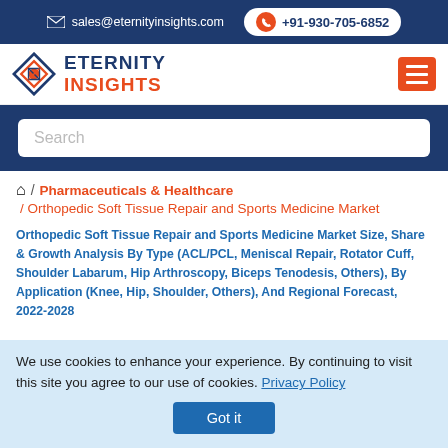sales@eternityinsights.com  +91-930-705-6852
[Figure (logo): Eternity Insights logo with diamond/arrow graphic and company name in navy and orange]
Search
/ Pharmaceuticals & Healthcare / Orthopedic Soft Tissue Repair and Sports Medicine Market
Orthopedic Soft Tissue Repair and Sports Medicine Market Size, Share & Growth Analysis By Type (ACL/PCL, Meniscal Repair, Rotator Cuff, Shoulder Labarum, Hip Arthroscopy, Biceps Tenodesis, Others), By Application (Knee, Hip, Shoulder, Others), And Regional Forecast, 2022-2028
We use cookies to enhance your experience. By continuing to visit this site you agree to our use of cookies. Privacy Policy Got it